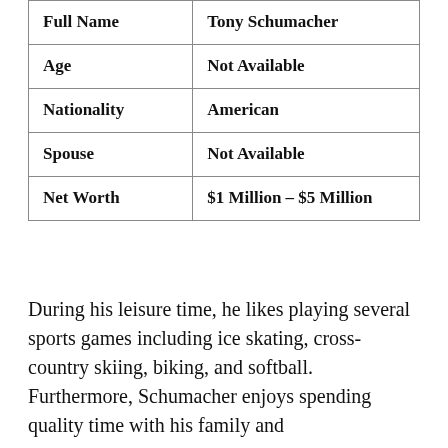| Full Name | Tony Schumacher |
| Age | Not Available |
| Nationality | American |
| Spouse | Not Available |
| Net Worth | $1 Million – $5 Million |
During his leisure time, he likes playing several sports games including ice skating, cross-country skiing, biking, and softball. Furthermore, Schumacher enjoys spending quality time with his family and